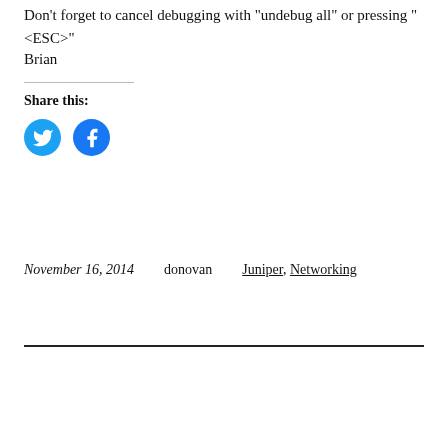Don't forget to cancel debugging with "undebug all" or pressing "<ESC>"
Brian
Share this:
[Figure (other): Twitter and Facebook share icon buttons (circular blue icons)]
November 16, 2014    donovan    Juniper, Networking